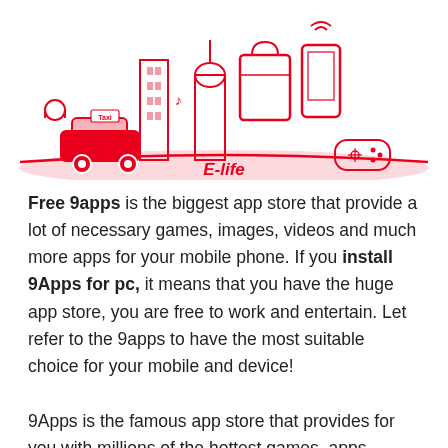[Figure (illustration): Red illustrated cityscape with taxi car, buildings, shopping bag, smartphone, and gaming controller icons, labeled 'E-life' in red italic text below]
Free 9apps is the biggest app store that provide a lot of necessary games, images, videos and much more apps for your mobile phone. If you install 9Apps for pc, it means that you have the huge app store, you are free to work and entertain. Let refer to the 9apps to have the most suitable choice for your mobile and device!
9Apps is the famous app store that provides for you with millions of the hottest games, apps, themes, ringtones, videos, Not only that, gadgets on 9apps are updated continuously everyday , even every hours. All